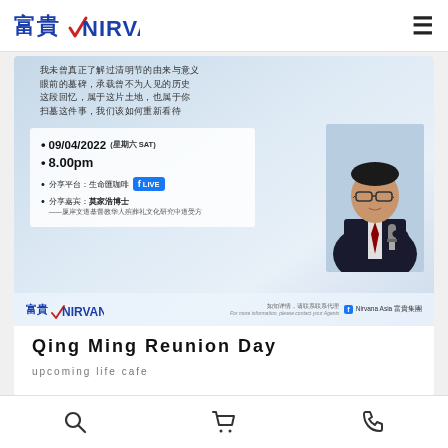富貴 NIRVANA
[Figure (infographic): Event banner for Qing Ming Reunion Day online event on 09/04/2022 Saturday at 8.00pm, sharing platform: 生命匯咖啡 Facebook LIVE, speaker: 莫家浩博士, with photo of a man in suit holding microphone. Nirvana logo at bottom. Chinese text at top about Qing Ming festival.]
Qing Ming Reunion Day
upcoming life cafe
search | cart | phone